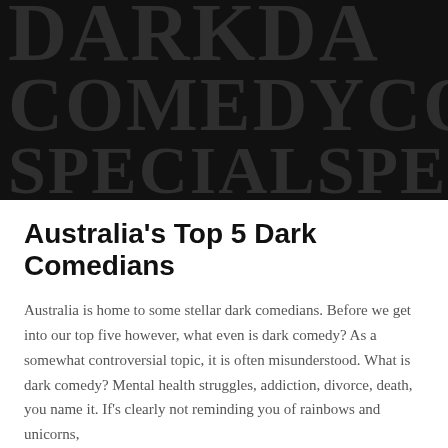[Figure (illustration): Black background banner image with large dark grey text reading 'DARKDA' on the first row, 'COMEDYCOM' on the second row, and 'SPECIALSPEC' on the third row, forming a repeating tiled pattern of the words 'DARK DAY COMEDY SPECIAL']
Australia's Top 5 Dark Comedians
Australia is home to some stellar dark comedians. Before we get into our top five however, what even is dark comedy? As a somewhat controversial topic, it is often misunderstood. What is dark comedy? Mental health struggles, addiction, divorce, death, you name it. If's clearly not reminding you of rainbows and unicorns,